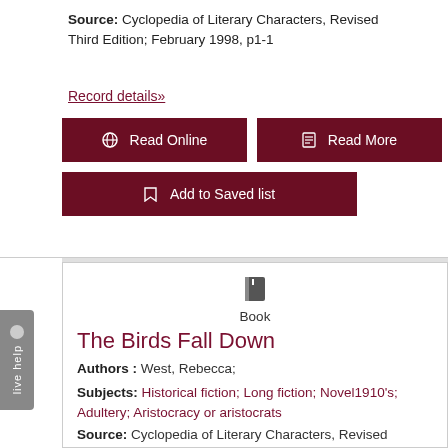Source: Cyclopedia of Literary Characters, Revised Third Edition; February 1998, p1-1
Record details»
Read Online
Read More
Add to Saved list
[Figure (illustration): Book icon]
Book
The Birds Fall Down
Authors : West, Rebecca;
Subjects: Historical fiction; Long fiction; Novel1910's; Adultery; Aristocracy or aristocrats
Source: Cyclopedia of Literary Characters, Revised